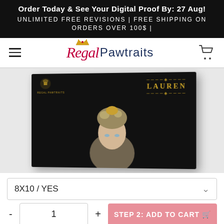Order Today & See Your Digital Proof By: 27 Aug!
UNLIMITED FREE REVISIONS | FREE SHIPPING ON ORDERS OVER 100$ |
[Figure (logo): Regal Pawtraits logo with hamburger menu on left and cart icon on right]
[Figure (photo): Product photo of a custom portrait canvas showing a woman styled regally with gold crown hair accessories, name LAUREN in gold on black background, Regal Pawtraits branding]
8X10 / YES
1
STEP 2: ADD TO CART 🛒